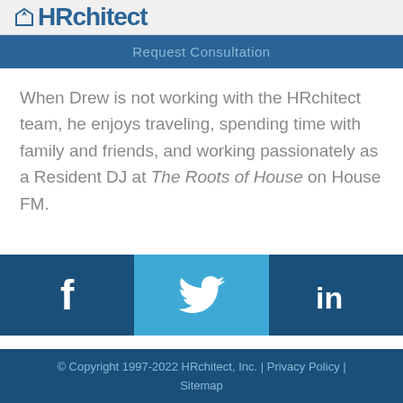HRchitect
Request Consultation
When Drew is not working with the HRchitect team, he enjoys traveling, spending time with family and friends, and working passionately as a Resident DJ at The Roots of House on House FM.
© Copyright 1997-2022 HRchitect, Inc. | Privacy Policy | Sitemap